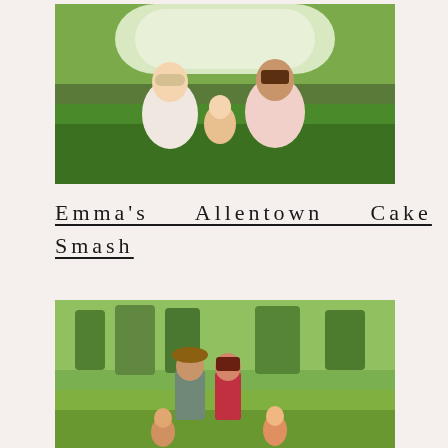[Figure (photo): Family photo of a couple sitting in green grass with a baby, surrounded by white flowering bushes. The woman has blonde hair and wears white, and the man wears a light pink shirt. The baby is between them.]
Emma's Allentown Cake Smash
[Figure (photo): Outdoor family photo in a sunny green field with trees in the background. A young couple with a man in a grey shirt and a woman with long dark hair stand with two small children.]